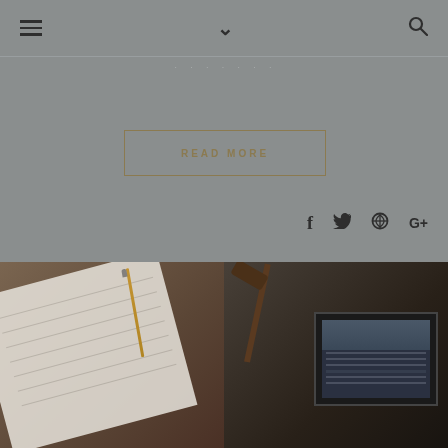navigation bar with hamburger menu, chevron, and search icons
· · · · · · ·
READ MORE
[Figure (other): Social sharing icons: Facebook (f), Twitter (bird), Pinterest (P), Google+ (G+)]
[Figure (photo): Two side-by-side photographs: left shows a notebook with handwriting and a pencil on a dark wooden surface; right shows a desk lamp and a tablet/monitor displaying a website, in dark moody lighting]